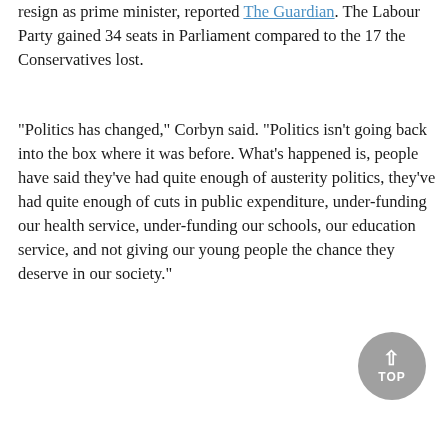resign as prime minister, reported The Guardian. The Labour Party gained 34 seats in Parliament compared to the 17 the Conservatives lost.
"Politics has changed," Corbyn said. "Politics isn't going back into the box where it was before. What's happened is, people have said they've had quite enough of austerity politics, they've had quite enough of cuts in public expenditure, under-funding our health service, under-funding our schools, our education service, and not giving our young people the chance they deserve in our society."